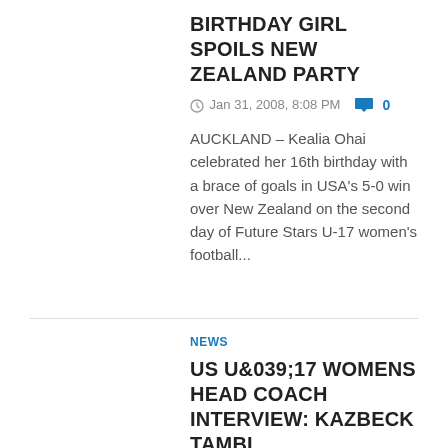BIRTHDAY GIRL SPOILS NEW ZEALAND PARTY
Jan 31, 2008, 8:08 PM  0
AUCKLAND – Kealia Ohai celebrated her 16th birthday with a brace of goals in USA's 5-0 win over New Zealand on the second day of Future Stars U-17 women's football...
NEWS
US U&039;17 WOMENS HEAD COACH INTERVIEW: KAZBECK TAMBI
Jan 30, 2008, 10:59 PM  0